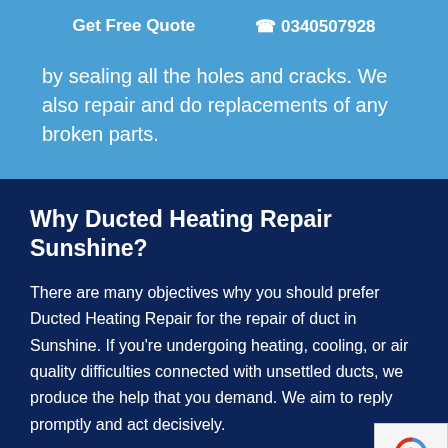Get Free Quote  0340507928
by sealing all the holes and cracks. We also repair and do replacements of any broken parts.
Why Ducted Heating Repair Sunshine?
There are many objectives why you should prefer Ducted Heating Repair for the repair of duct in Sunshine. If you're undergoing heating, cooling, or air quality difficulties connected with unsettled ducts, we produce the help that you demand. We aim to reply promptly and act decisively.
At Ducted Heating Repair Sunshine, our